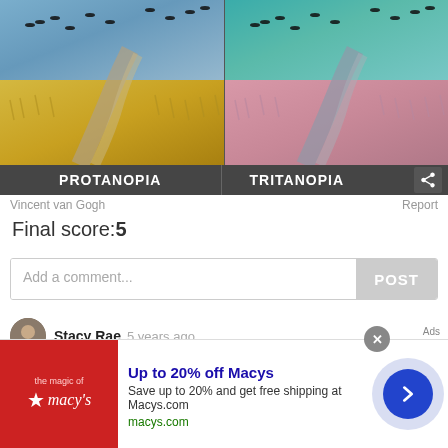[Figure (illustration): Side-by-side comparison of a Van Gogh painting (Wheatfield with Crows) shown with two color blindness simulations: left panel labeled PROTANOPIA (yellow-green tones), right panel labeled TRITANOPIA (pink-teal tones). Share icon on right side of label bar.]
Vincent van Gogh
Report
Final score:5
Add a comment...
POST
Stacy Rae  5 years ago
[Figure (infographic): Advertisement banner for Macy's showing logo, text 'Up to 20% off Macys', 'Save up to 20% and get free shipping at Macys.com', 'macys.com', a circular arrow button, and a close X button.]